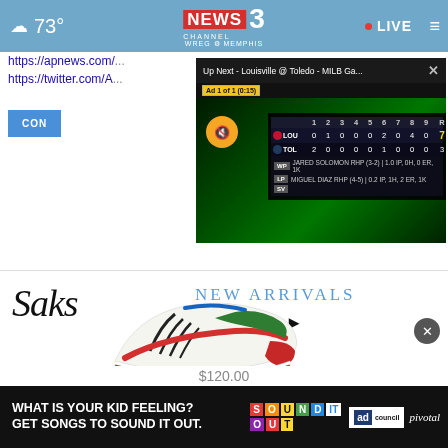73° NEWS CHANNEL 3 WREG MEMPHIS · LIVE
https://apnews.com/...
https://twitter.com/A...
[Figure (screenshot): Video overlay showing 'Up Next - Louisville @ Toledo - MILB Ga...' with a baseball scoreboard. LOU: 0 1 0 0 0 2 0 4 0 — R:7 H:11 E:0. TOL: 2 0 0 0 0 1 0 0 0 — R:3 H:5 E:1. WP: JARED SOLOMON RHP (3-2) | 1.0 IP, 0H, 0 ER, 1K. LP: MIGUEL DIAZ RHP (4-5) | 0.2 IP, 1H, 2 ER, 1K. SV: (blank). Ad 1 of 1 (0:15)]
CON...
[Figure (photo): Saks Fifth Avenue advertisement showing colorful zebra-print sneakers with red and green accents. Text: 'Saks NEW ARRIVALS SHOP NOW ▶']
[Figure (infographic): Bottom banner ad: 'WHAT IS YOUR KID FEELING? GET SONGS TO SOUND IT OUT.' with Sound It Out logo, Ad Council logo, and Pivotal branding]